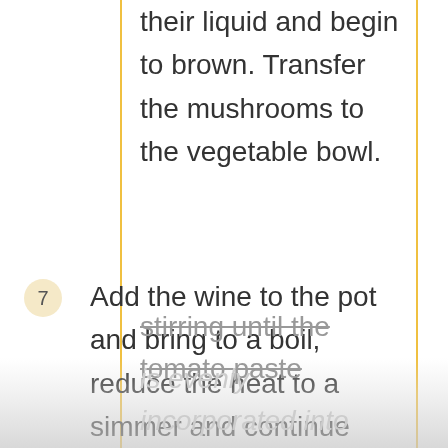their liquid and begin to brown. Transfer the mushrooms to the vegetable bowl.
7. Add the wine to the pot and bring to a boil, reduce the heat to a simmer and continue stirring and scraping the bottom of the pot to loosen the fond. Simmer for one minute, then add the broth and tomato paste, stirring until the tomato paste is evenly incorporated into